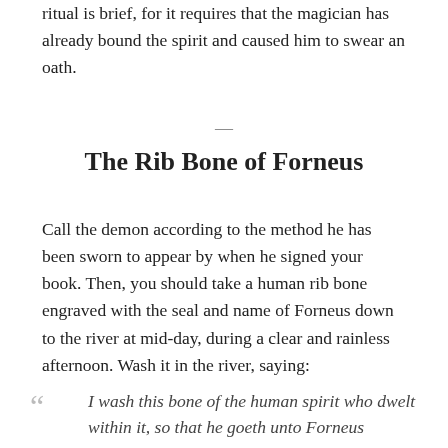ritual is brief, for it requires that the magician has already bound the spirit and caused him to swear an oath.
The Rib Bone of Forneus
Call the demon according to the method he has been sworn to appear by when he signed your book. Then, you should take a human rib bone engraved with the seal and name of Forneus down to the river at mid-day, during a clear and rainless afternoon. Wash it in the river, saying:
I wash this bone of the human spirit who dwelt within it, so that he goeth unto Forneus